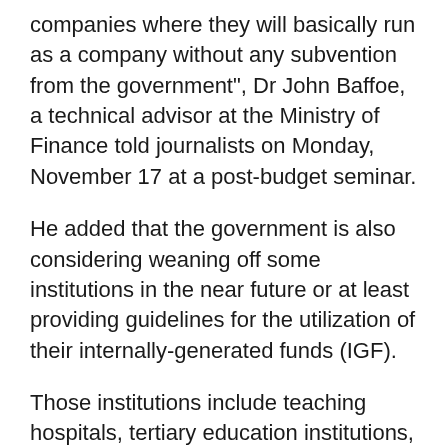companies where they will basically run as a company without any subvention from the government", Dr John Baffoe, a technical advisor at the Ministry of Finance told journalists on Monday, November 17 at a post-budget seminar.
He added that the government is also considering weaning off some institutions in the near future or at least providing guidelines for the utilization of their internally-generated funds (IGF).
Those institutions include teaching hospitals, tertiary education institutions, the Forestry Commission, Minerals Commission, Ghana Broadcasting Corporation, Ghana Investment Promotion Council, Ghana Standards Authority